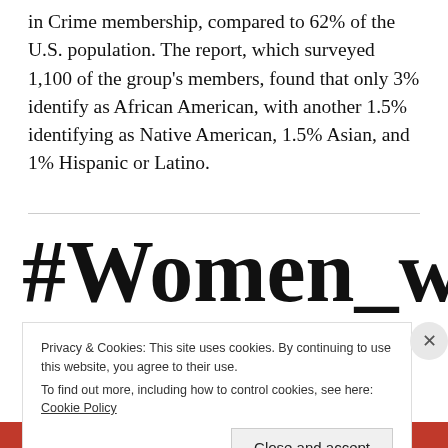in Crime membership, compared to 62% of the U.S. population. The report, which surveyed 1,100 of the group's members, found that only 3% identify as African American, with another 1.5% identifying as Native American, 1.5% Asian, and 1% Hispanic or Latino.
#Women_writers
Privacy & Cookies: This site uses cookies. By continuing to use this website, you agree to their use.
To find out more, including how to control cookies, see here: Cookie Policy